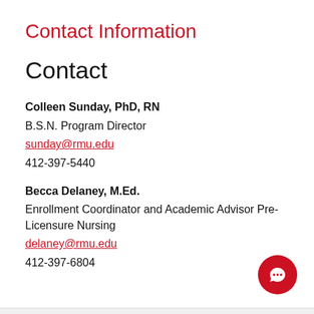Contact Information
Contact
Colleen Sunday, PhD, RN
B.S.N. Program Director
sunday@rmu.edu
412-397-5440
Becca Delaney, M.Ed.
Enrollment Coordinator and Academic Advisor Pre-Licensure Nursing
delaney@rmu.edu
412-397-6804